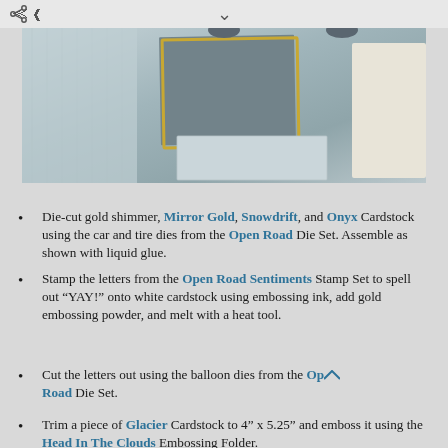[Figure (photo): Top-down photo of craft cardstock and card-making supplies arranged on a light surface, showing dark gray/slate colored cardstock with gold border and light blue/gray panels.]
Die-cut gold shimmer, Mirror Gold, Snowdrift, and Onyx Cardstock using the car and tire dies from the Open Road Die Set. Assemble as shown with liquid glue.
Stamp the letters from the Open Road Sentiments Stamp Set to spell out “YAY!” onto white cardstock using embossing ink, add gold embossing powder, and melt with a heat tool.
Cut the letters out using the balloon dies from the Open Road Die Set.
Trim a piece of Glacier Cardstock to 4” x 5.25” and emboss it using the Head In The Clouds Embossing Folder.